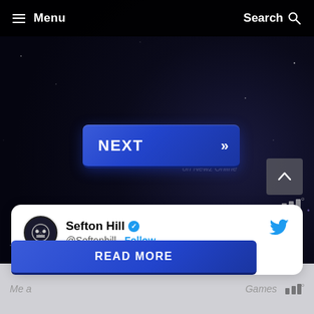≡ Menu    Search 🔍
[Figure (screenshot): Dark space-themed background with starfield gradient]
[Figure (other): Blue NEXT button with double chevron >> on dark background]
on Newz Online
[Figure (other): Scroll to top button (up arrow) gray square]
Sefton Hill @Seftonhill · Follow
READ MORE
Me a       Games on Newz Online